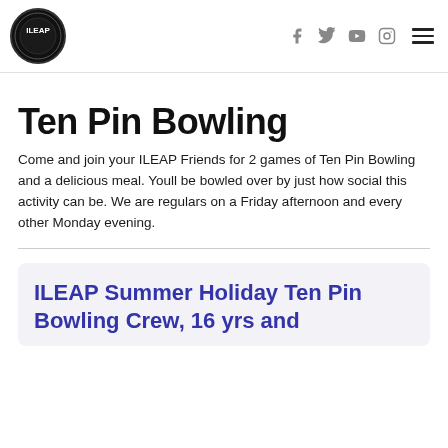ILEAP logo and navigation with social icons (Facebook, Twitter, YouTube, Instagram) and hamburger menu
Ten Pin Bowling
Come and join your ILEAP Friends for 2 games of Ten Pin Bowling and a delicious meal. Youll be bowled over by just how social this activity can be. We are regulars on a Friday afternoon and every other Monday evening.
ILEAP Summer Holiday Ten Pin Bowling Crew, 16 yrs and